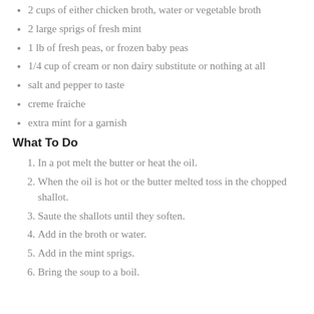2 cups of either chicken broth, water or vegetable broth
2 large sprigs of fresh mint
1 lb of fresh peas, or frozen baby peas
1/4 cup of cream or non dairy substitute or nothing at all
salt and pepper to taste
creme fraiche
extra mint for a garnish
What To Do
In a pot melt the butter or heat the oil.
When the oil is hot or the butter melted toss in the chopped shallot.
Saute the shallots until they soften.
Add in the broth or water.
Add in the mint sprigs.
Bring the soup to a boil.